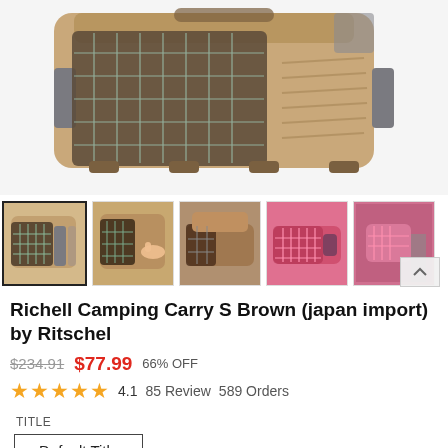[Figure (photo): Main product image of a tan/brown pet carrier (Richell Camping Carry S) shown from the side-front angle, displaying the wire grid door and plastic body.]
[Figure (photo): Thumbnail row showing 5 product images: (1) tan carrier selected, (2) tan carrier with door open hand visible, (3) carrier open from side, (4) pink/red carrier, (5) pink carrier held by person.]
Richell Camping Carry S Brown (japan import) by Ritschel
$234.91 $77.99 66% OFF
4.1  85 Review  589 Orders
TITLE
Default Title